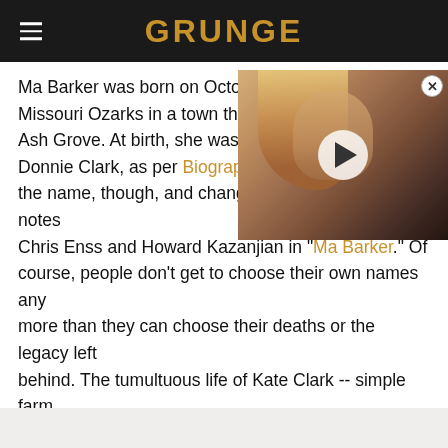GRUNGE
Ma Barker was born on October 8, 1873, deep in the Missouri Ozarks in a town that would become Ash Grove. At birth, she was given the name Arizona Donnie Clark, as per Biography. She didn't keep the name, though, and changed it to Kate herself, notes Chris Enss and Howard Kazanjian in "Ma Barker." Of course, people don't get to choose their own names any more than they can choose their deaths or the legacy left behind. The tumultuous life of Kate Clark -- simple farm girl turned gangster matriarch -- is a lesson in this inevitability.
[Figure (photo): Video thumbnail overlay showing a long-haired man with beard, with a play button overlaid, and a close/X button in top-right corner]